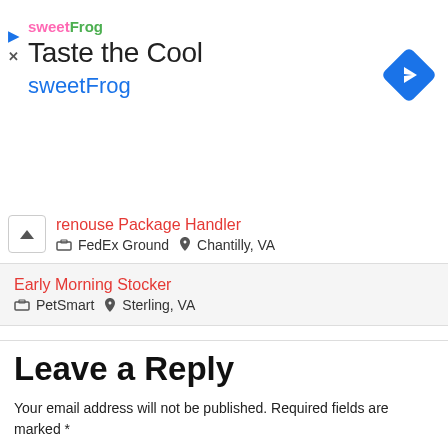[Figure (logo): sweetFrog ad banner with logo, 'Taste the Cool' headline, sweetFrog text in blue, and Google Maps navigation icon]
renouse Package Handler
FedEx Ground   Chantilly, VA
Early Morning Stocker
PetSmart   Sterling, VA
Leave a Reply
Your email address will not be published. Required fields are marked *
Comment *